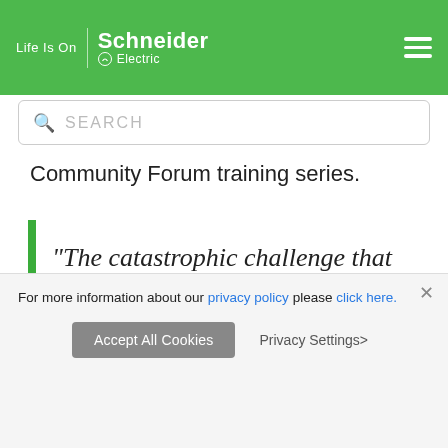Life Is On | Schneider Electric
Community Forum training series.
“The catastrophic challenge that climate change presents cannot be overcome by a company’s actions alone,” said Christophe
For more information about our privacy policy please click here.
Accept All Cookies   Privacy Settings>